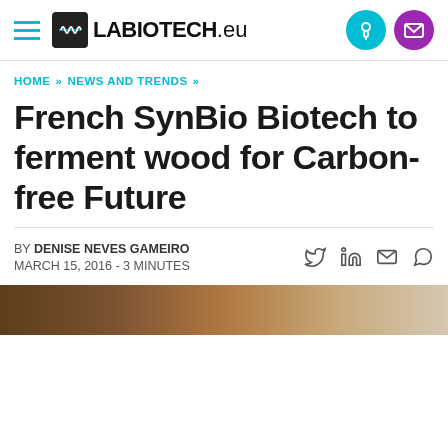LABIOTECH.eu
HOME » NEWS AND TRENDS »
French SynBio Biotech to ferment wood for Carbon-free Future
BY DENISE NEVES GAMEIRO
MARCH 15, 2016 - 3 MINUTES
[Figure (photo): Hero image showing wood/bark texture, partially visible at bottom of header area]